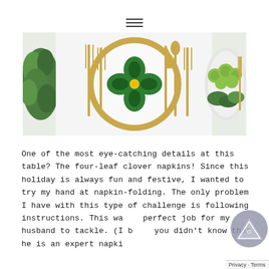≡
[Figure (photo): Top-down view of a festive table setting with a green four-leaf clover folded napkin on a white plate with gold rim charger, gold cutlery on both sides, green leafy vegetables and Brussels sprouts in side dishes on a white background.]
One of the most eye-catching details at this table? The four-leaf clover napkins! Since this holiday is always fun and festive, I wanted to try my hand at napkin-folding. The only problem I have with this type of challenge is following instructions. This wa— perfect job for my husband to tackle. (I b— you didn't know that he is an expert napki—